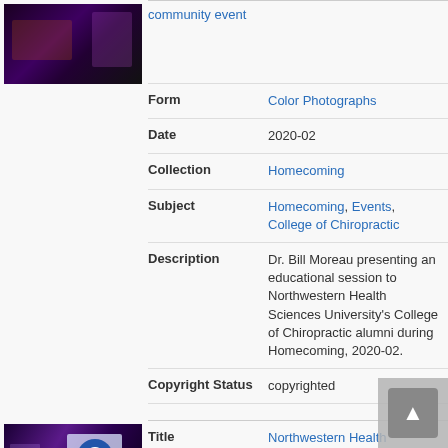[Figure (photo): Thumbnail photo of a person presenting at a community event, dark background with purple lighting]
| Form | Color Photographs |
| Date | 2020-02 |
| Collection | Homecoming |
| Subject | Homecoming, Events, College of Chiropractic |
| Description | Dr. Bill Moreau presenting an educational session to Northwestern Health Sciences University's College of Chiropractic alumni during Homecoming, 2020-02. |
| Copyright Status | copyrighted |
[Figure (photo): Thumbnail photo of a person pointing at a screen showing a logo, purple lighting on stage]
| Title | Northwestern Health Sciences University community event |
| Form | Color Photographs |
| Date | 2020-02 |
| Collection | Homecoming |
| Subject | Homecoming, Events, College of... |